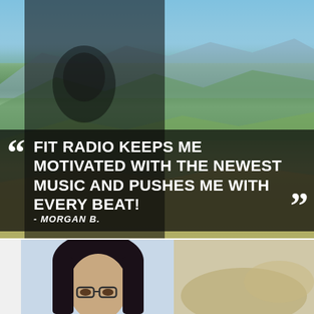[Figure (photo): Woman standing outdoors on a mountain overlook wearing a black graphic t-shirt and black leggings, with mountain landscape and blue sky in the background]
“ FIT RADIO KEEPS ME MOTIVATED WITH THE NEWEST MUSIC AND PUSHES ME WITH EVERY BEAT! ”
- MORGAN B.
[Figure (photo): Portrait of a woman with dark hair wearing glasses, photographed outdoors with a light background]